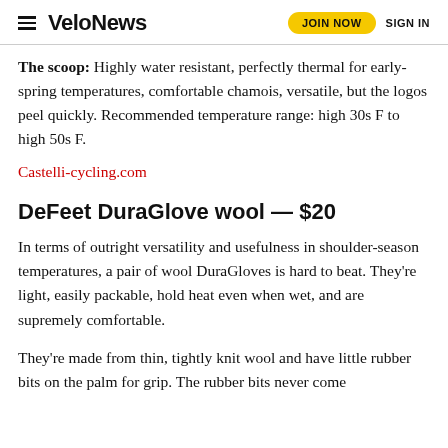VeloNews — JOIN NOW  SIGN IN
The scoop: Highly water resistant, perfectly thermal for early-spring temperatures, comfortable chamois, versatile, but the logos peel quickly. Recommended temperature range: high 30s F to high 50s F.
Castelli-cycling.com
DeFeet DuraGlove wool — $20
In terms of outright versatility and usefulness in shoulder-season temperatures, a pair of wool DuraGloves is hard to beat. They're light, easily packable, hold heat even when wet, and are supremely comfortable.
They're made from thin, tightly knit wool and have little rubber bits on the palm for grip. The rubber bits never come